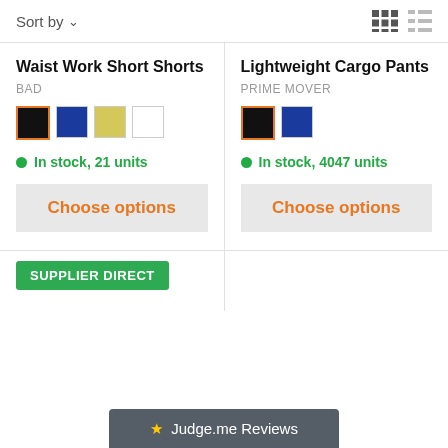Sort by
[Figure (screenshot): Grid and list view toggle icons in top right]
Waist Work Short Shorts
BAD
[Figure (illustration): Four color swatches: black (selected with orange border), navy blue, yellow, white]
In stock, 21 units
Choose options
Lightweight Cargo Pants
PRIME MOVER
[Figure (illustration): Two color swatches: black (selected with orange border), navy blue]
In stock, 4047 units
Choose options
SUPPLIER DIRECT
★ Judge.me Reviews